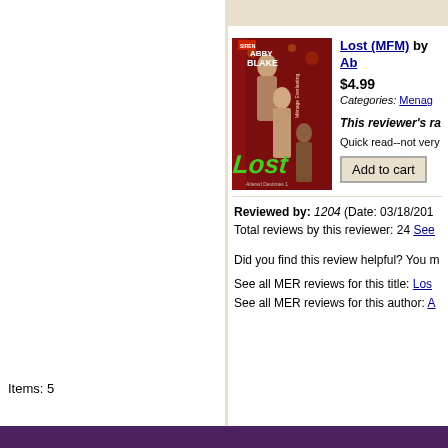Lost (MFM) by Ab...
$4.99
Categories: Menag...
This reviewer's ra...
Quick read--not very...
Add to cart
Reviewed by: 1204 (Date: 03/18/201...
Total reviews by this reviewer: 24 See...
Did you find this review helpful? You m...
See all MER reviews for this title: Los...
See all MER reviews for this author: A...
Items: 5
[Figure (photo): Book cover image for 'Lost' by Abby Blake, Menage Everlasting series, showing two men and a woman, red background with 'Lost' text in green.]